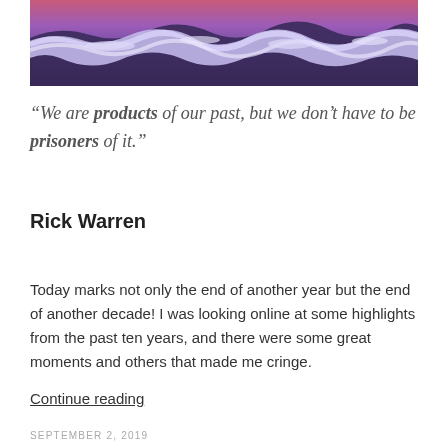[Figure (photo): Ocean wave photo with purple and pink sunset sky tones, white foam crashing on shore]
“We are products of our past, but we don’t have to be prisoners of it.”
Rick Warren
Today marks not only the end of another year but the end of another decade! I was looking online at some highlights from the past ten years, and there were some great moments and others that made me cringe.
Continue reading
SEPTEMBER 2, 2019